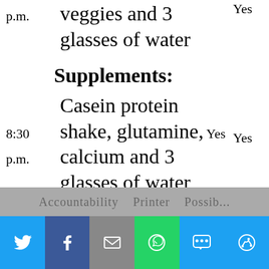p.m.  veggies and 3 glasses of water  Yes
Supplements:
8:30 p.m.  Casein protein shake, glutamine, calcium and 3 glasses of water  Yes
[Figure (screenshot): Social sharing bar at bottom with Twitter, Facebook, Email, WhatsApp, SMS, and More buttons]